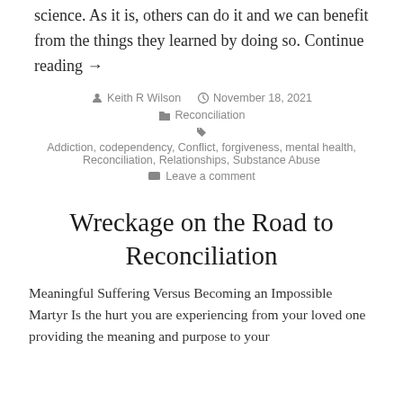science. As it is, others can do it and we can benefit from the things they learned by doing so. Continue reading →
By Keith R Wilson  |  November 18, 2021  |  Reconciliation  |  Tags: Addiction, codependency, Conflict, forgiveness, mental health, Reconciliation, Relationships, Substance Abuse  |  Leave a comment
Wreckage on the Road to Reconciliation
Meaningful Suffering Versus Becoming an Impossible Martyr Is the hurt you are experiencing from your loved one providing the meaning and purpose to your